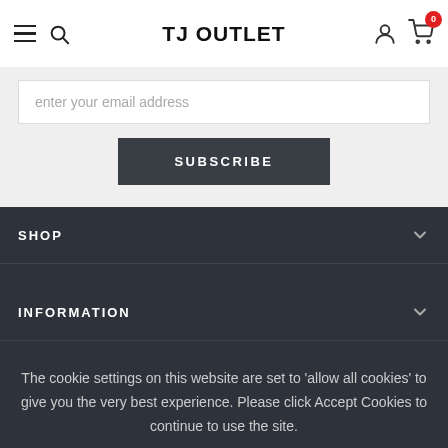TJ OUTLET
enter your email address
SUBSCRIBE
SHOP
INFORMATION
The cookie settings on this website are set to 'allow all cookies' to give you the very best experience. Please click Accept Cookies to continue to use the site.
Privacy Policy   Accept ✓